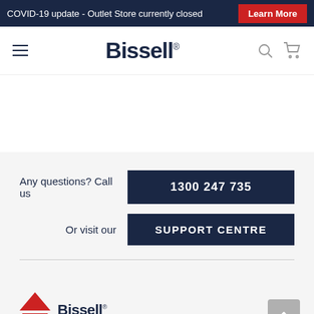COVID-19 update - Outlet Store currently closed   Learn More
[Figure (logo): Bissell logo in navy blue text in navigation bar]
Any questions? Call us   1300 247 735
Or visit our   SUPPORT CENTRE
[Figure (logo): Bissell footer logo with red triangle icon and navy text]